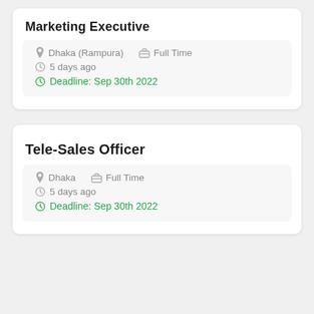Marketing Executive
Dhaka (Rampura)   Full Time
5 days ago
Deadline: Sep 30th 2022
Tele-Sales Officer
Dhaka   Full Time
5 days ago
Deadline: Sep 30th 2022